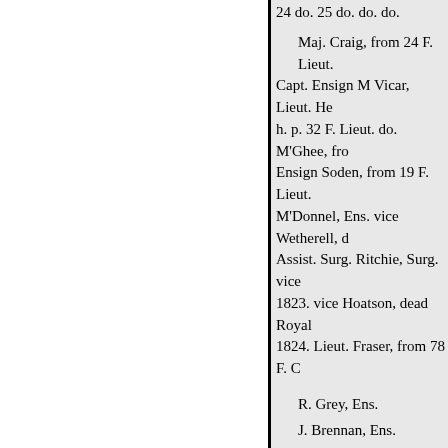24 do. 25 do. do. do.
Maj. Craig, from 24 F. Lieut. Capt. Ensign M Vicar, Lieut. h. p. 32 F. Lieut. do. M'Ghee, fr Ensign Soden, from 19 F. Lieut. M'Donnel, Ens. vice Wetherell, d Assist. Surg. Ritchie, Surg. vice 1823. vice Hoatson, dead Royal 1824. Lieut. Fraser, from 78 F. C
R. Grey, Ens.
J. Brennan, Ens.
dead
M'Combie, from 1 F.
L'Estrange, dead
Ensign Erskine, Lieut.
1 July 25 June do.
2
Greetham, Lieut.
Berwick, from 10 F. Lieut.